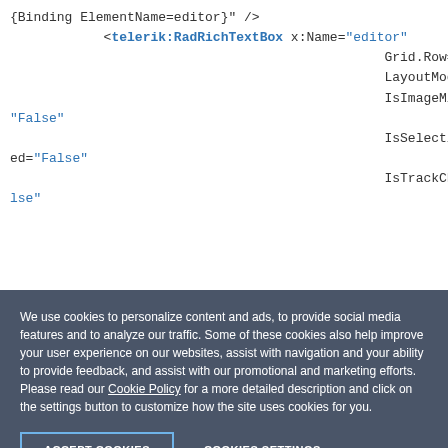{Binding ElementName=editor}" />
            <telerik:RadRichTextBox x:Name="editor"
                                                Grid.Row="1"
                                                LayoutMode="Flow"
                                                IsImageMiniToolBarEnabled="False"
                                                IsSelectionMiniToolBarEnabled="False"
                                                IsTrackChangesEnabled="False"
We use cookies to personalize content and ads, to provide social media features and to analyze our traffic. Some of these cookies also help improve your user experience on our websites, assist with navigation and your ability to provide feedback, and assist with our promotional and marketing efforts. Please read our Cookie Policy for a more detailed description and click on the settings button to customize how the site uses cookies for you.
ACCEPT COOKIES
COOKIES SETTINGS